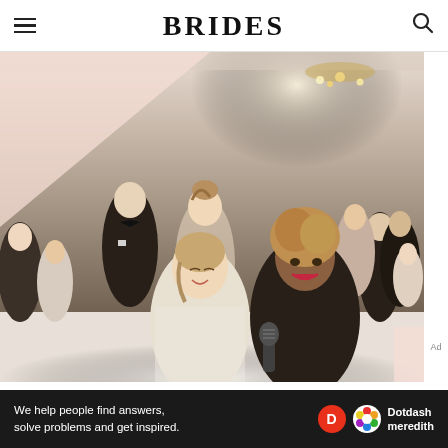BRIDES
[Figure (photo): Wedding reception scene with guests celebrating; two women in foreground singing into a microphone, one in a white sparkly dress and one in a black dress; background shows elegantly dressed guests in a white draped venue with chandeliers]
We help people find answers, solve problems and get inspired.
[Figure (logo): Dotdash Meredith logo with red circular D icon and colorful flower icon]